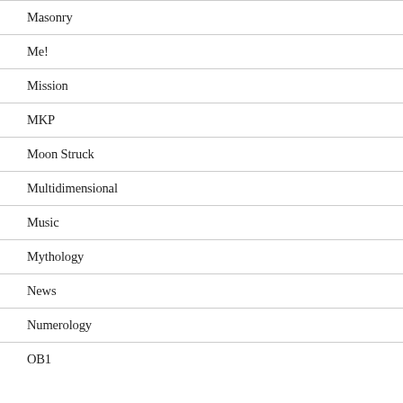Masonry
Me!
Mission
MKP
Moon Struck
Multidimensional
Music
Mythology
News
Numerology
OB1